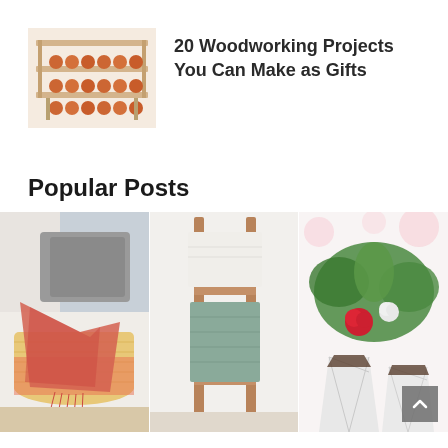[Figure (photo): Wooden egg rack with orange/brown eggs on wooden shelves]
20 Woodworking Projects You Can Make as Gifts
Popular Posts
[Figure (photo): Wicker basket with pink and grey blankets/throws]
[Figure (photo): Rustic wooden ladder with draped grey and white blankets against white wall]
[Figure (photo): Geometric marble planters with pink roses and green plants]